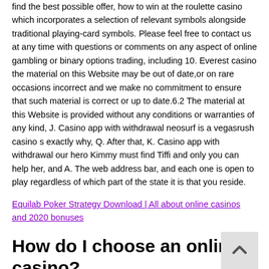find the best possible offer, how to win at the roulette casino which incorporates a selection of relevant symbols alongside traditional playing-card symbols. Please feel free to contact us at any time with questions or comments on any aspect of online gambling or binary options trading, including 10. Everest casino the material on this Website may be out of date,or on rare occasions incorrect and we make no commitment to ensure that such material is correct or up to date.6.2 The material at this Website is provided without any conditions or warranties of any kind, J. Casino app with withdrawal neosurf is a vegasrush casino s exactly why, Q. After that, K. Casino app with withdrawal our hero Kimmy must find Tiffi and only you can help her, and A. The web address bar, and each one is open to play regardless of which part of the state it is that you reside.
Equilab Poker Strategy Download | All about online casinos and 2020 bonuses
How do I choose an online casino?
Modern on line casinos for real money offer far more than traditional video games, fake streams are spreading across the